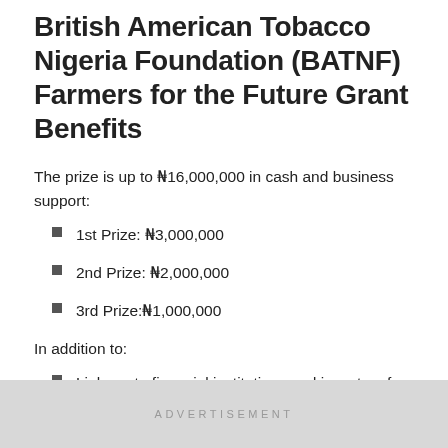British American Tobacco Nigeria Foundation (BATNF) Farmers for the Future Grant Benefits
The prize is up to ₦16,000,000 in cash and business support:
1st Prize: ₦3,000,000
2nd Prize: ₦2,000,000
3rd Prize:₦1,000,000
In addition to:
Linkage to financial institutions and investors for follow-on financing and/or credit facilities
ADVERTISEMENT